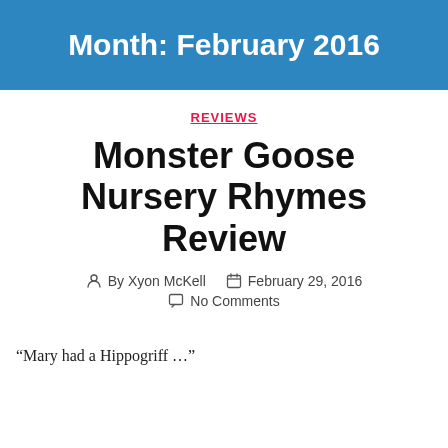Month: February 2016
REVIEWS
Monster Goose Nursery Rhymes Review
By Xyon McKell   February 29, 2016   No Comments
“Mary had a Hippogriff …”